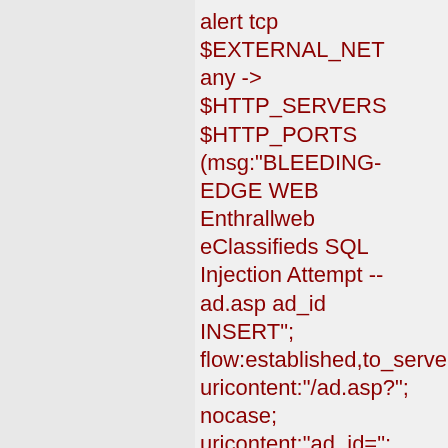alert tcp $EXTERNAL_NET any -> $HTTP_SERVERS $HTTP_PORTS (msg:"BLEEDING-EDGE WEB Enthrallweb eClassifieds SQL Injection Attempt -- ad.asp ad_id INSERT"; flow:established,to_server; uricontent:"/ad.asp?"; nocase; uricontent:"ad_id="; nocase; uricontent:"INSERT"; nocase; pcre:"/.+INSERT.+INTO/U classtype:web-application-attack; reference:CVE...